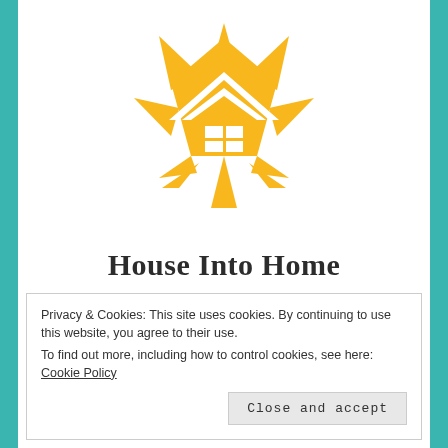[Figure (logo): House Into Home logo — a golden/amber star shape with a house rooftop and window grid in the center]
House Into Home
- by Judy Jernigan, Trusted Real Estate Advisor, Broker -
[Figure (infographic): Four teal circular social media icons: Facebook, Twitter, Pinterest, Instagram]
Privacy & Cookies: This site uses cookies. By continuing to use this website, you agree to their use. To find out more, including how to control cookies, see here: Cookie Policy
Close and accept